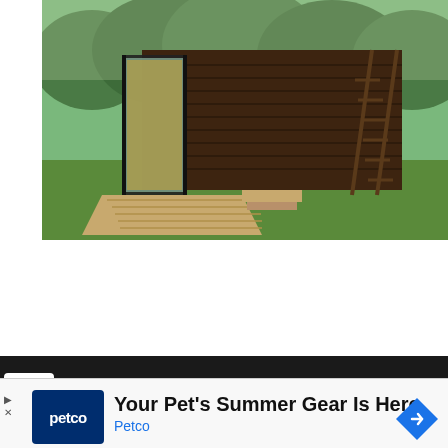[Figure (photo): Exterior photo of a modern tiny house with dark wood horizontal siding, large glass sliding door on left, wooden deck/ramp, ladder on right side, surrounded by green grass and trees]
We are using cookies to give you the best experience on our site.
n find out more about which cookies we are using or
Your Pet's Summer Gear Is Here
Petco